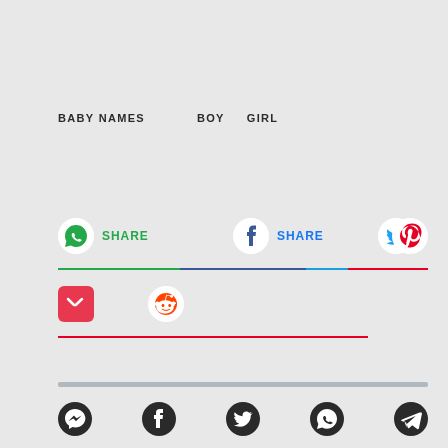BABY NAMES  BOY  GIRL
[Figure (infographic): Social share buttons row: WhatsApp SHARE, Facebook SHARE, Twitter bird icon, Pinterest icon; followed by Pocket and Reddit icons; a bottom gray separator bar; and footer social icons: Messenger, Facebook, Twitter, WhatsApp, Telegram]